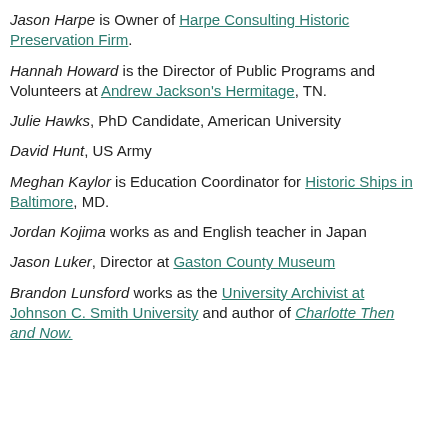Jason Harpe is Owner of Harpe Consulting Historic Preservation Firm.
Hannah Howard is the Director of Public Programs and Volunteers at Andrew Jackson's Hermitage, TN.
Julie Hawks, PhD Candidate, American University
David Hunt, US Army
Meghan Kaylor is Education Coordinator for Historic Ships in Baltimore, MD.
Jordan Kojima works as and English teacher in Japan
Jason Luker, Director at Gaston County Museum
Brandon Lunsford works as the University Archivist at Johnson C. Smith University and author of Charlotte Then and Now.